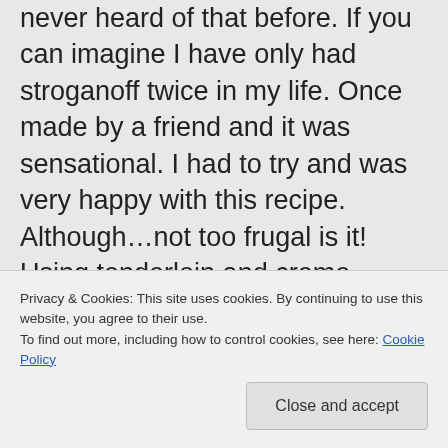never heard of that before. If you can imagine I have only had stroganoff twice in my life. Once made by a friend and it was sensational. I had to try and was very happy with this recipe. Although…not too frugal is it! Using tenderloin and creme fraiche is not cutting cost. I am in serious need of a grocery shopping makeover! Sometimes I leave the store in sticker shock. It's a difficult task for me to shop
Privacy & Cookies: This site uses cookies. By continuing to use this website, you agree to their use.
To find out more, including how to control cookies, see here: Cookie Policy
Close and accept
expensive, like everything else! :)